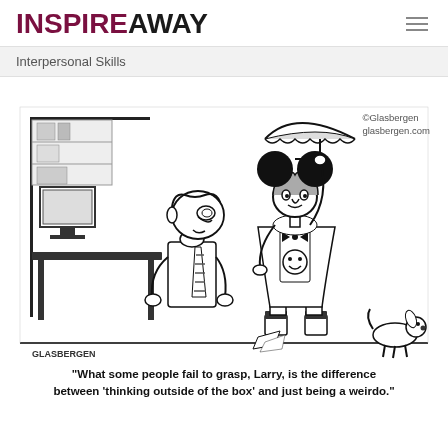INSPIREAWAY
Interpersonal Skills
[Figure (illustration): Glasbergen cartoon showing a bewildered office worker sitting at a desk looking up at a bizarrely dressed person wearing Mickey Mouse ears, an umbrella hat, a smiley face shirt, platform boots, and holding a tiny dog. The caption reads: 'What some people fail to grasp, Larry, is the difference between thinking outside of the box and just being a weirdo.' Copyright note: ©Glasbergen glasbergen.com]
"What some people fail to grasp, Larry, is the difference between 'thinking outside of the box' and just being a weirdo."